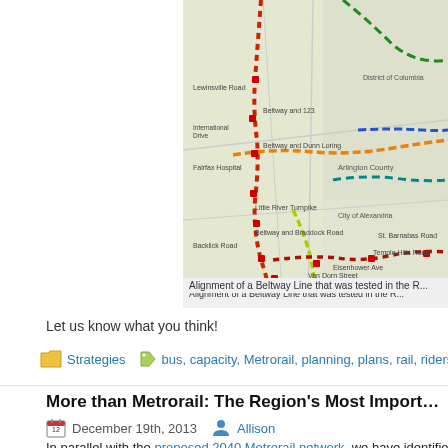[Figure (map): Transit map showing alignment of a Beltway Line with various colored dashed route lines across the Washington DC metro area including Arlington County, City of Alexandria, District of Columbia, and surrounding Virginia suburbs. Routes shown in red, orange, green, teal, blue, and yellow dashed lines.]
Alignment of a Beltway Line that was tested in the R...
Let us know what you think!
Strategies   bus, capacity, Metrorail, planning, plans, rail, ridership, RTSP, trave...
More than Metrorail: The Region's Most Important High-Capacity Su...
December 19th, 2013   Allison
In parallel with the proposed 2040 Metrorail network, we have identified 25 n... corridors that merit high-capacity surface transit by 2040. Depending on...